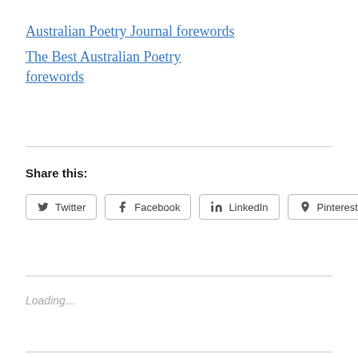Australian Poetry Journal forewords
The Best Australian Poetry forewords
Share this:
Twitter  Facebook  LinkedIn  Pinterest
Loading...